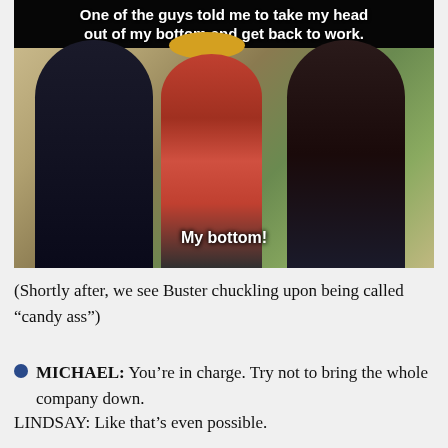[Figure (screenshot): TV show screenshot (Arrested Development) showing three men at a construction site. Top caption reads: 'One of the guys told me to take my head out of my bottom and get back to work.' Bottom caption reads: 'My bottom!']
(Shortly after, we see Buster chuckling upon being called “candy ass”)
MICHAEL: You’re in charge. Try not to bring the whole company down.
LINDSAY: Like that’s even possible.